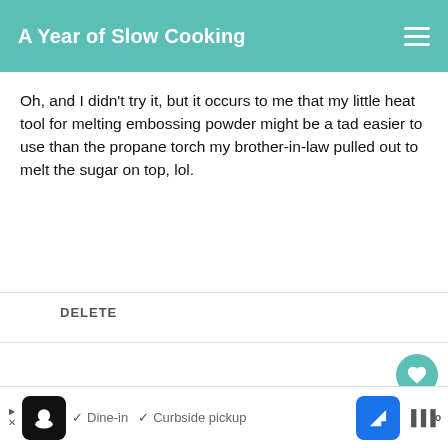A Year of Slow Cooking
Oh, and I didn't try it, but it occurs to me that my little heat tool for melting embossing powder might be a tad easier to use than the propane torch my brother-in-law pulled out to melt the sugar on top, lol.
DELETE
LIZ
2/21/2011
Has anyone tried substituting a lower fat milk for the heavy cream? I know it won't be as rich and creamy, but would it cook the same way?